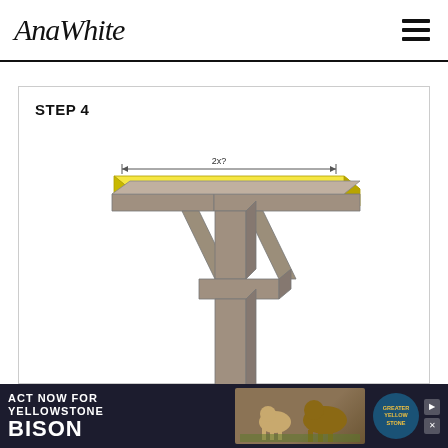AnaWhite
STEP 4
[Figure (engineering-diagram): 3D isometric illustration of a wooden pergola/pedestal structure showing a horizontal beam top piece (highlighted in yellow) with a dimension arrow labeled '2x?' spanning its width, supported by diagonal braces meeting at a central vertical post with a base cross-structure. The top plank is yellow/highlighted indicating the current build step.]
ACT NOW FOR YELLOWSTONE BISON